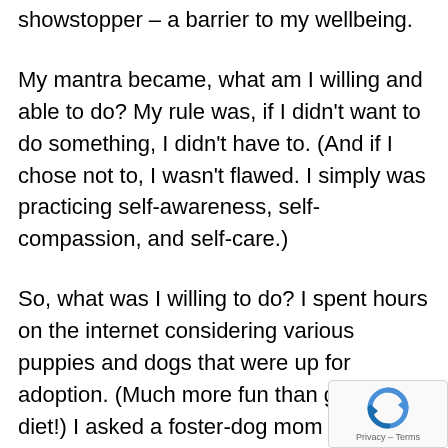showstopper – a barrier to my wellbeing.
My mantra became, what am I willing and able to do? My rule was, if I didn't want to do something, I didn't have to. (And if I chose not to, I wasn't flawed. I simply was practicing self-awareness, self-compassion, and self-care.)
So, what was I willing to do? I spent hours on the internet considering various puppies and dogs that were up for adoption. (Much more fun than going on a diet!) I asked a foster-dog mom to bring over a puppy for me to consider, because I wanted to see how it felt to be around a...
[Figure (other): reCAPTCHA widget overlay in bottom-right corner showing a circular arrow icon and 'Privacy - Terms' text]